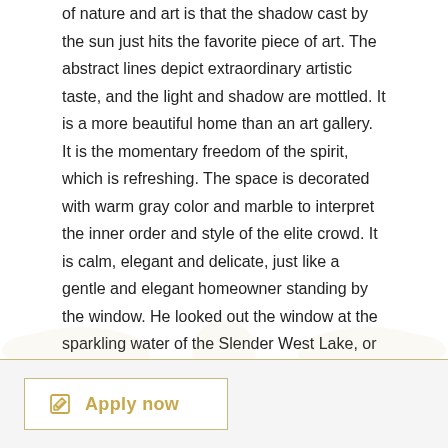of nature and art is that the shadow cast by the sun just hits the favorite piece of art. The abstract lines depict extraordinary artistic taste, and the light and shadow are mottled. It is a more beautiful home than an art gallery. It is the momentary freedom of the spirit, which is refreshing. The space is decorated with warm gray color and marble to interpret the inner order and style of the elite crowd. It is calm, elegant and delicate, just like a gentle and elegant homeowner standing by the window. He looked out the window at the sparkling water of the Slender West Lake, or sat on the comfortable sofa with texture, flipping through the books in his hand, showing his unique grace and grace.
Apply now